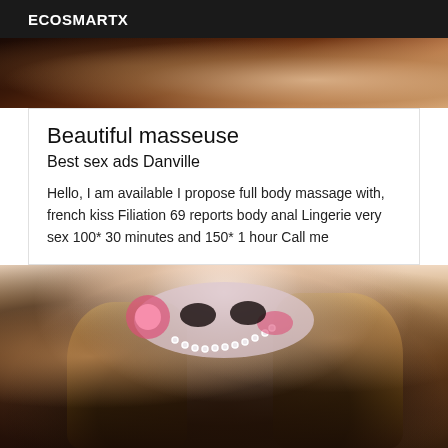ECOSMARTX
[Figure (photo): Partial photo at top of page, blurry background image]
Beautiful masseuse
Best sex ads Danville
Hello, I am available I propose full body massage with, french kiss Filiation 69 reports body anal Lingerie very sex 100* 30 minutes and 150* 1 hour Call me
[Figure (photo): Woman wearing a decorative pink and white masquerade mask with pearls and flowers, blonde wavy hair, wearing a black fishnet top]